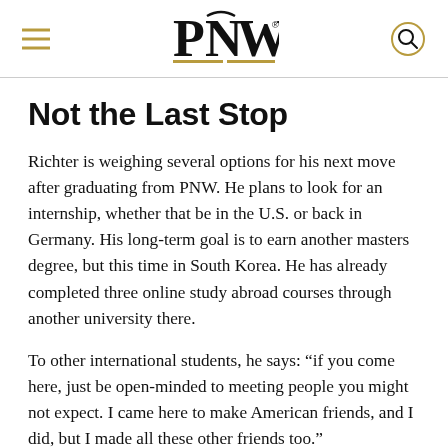PNW
Not the Last Stop
Richter is weighing several options for his next move after graduating from PNW. He plans to look for an internship, whether that be in the U.S. or back in Germany. His long-term goal is to earn another masters degree, but this time in South Korea. He has already completed three online study abroad courses through another university there.
To other international students, he says: “if you come here, just be open-minded to meeting people you might not expect. I came here to make American friends, and I did, but I made all these other friends too.”